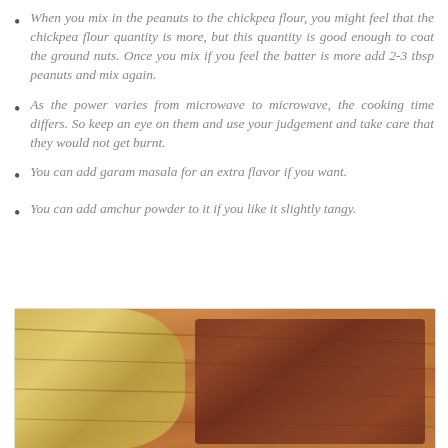When you mix in the peanuts to the chickpea flour, you might feel that the chickpea flour quantity is more, but this quantity is good enough to coat the ground nuts. Once you mix if you feel the batter is more add 2-3 tbsp peanuts and mix again.
As the power varies from microwave to microwave, the cooking time differs. So keep an eye on them and use your judgement and take care that they would not get burnt.
You can add garam masala for an extra flavor if you want.
You can add amchur powder to it if you like it slightly tangy.
[Figure (photo): Photo of spices and cooking ingredients on a wooden surface, including what appears to be a jar with yellow/green contents on the left and cinnamon sticks tied together on the right, with a tray in the background.]